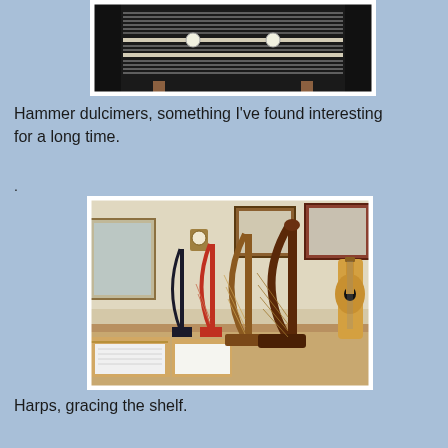[Figure (photo): Close-up view of a hammer dulcimer showing strings and tuning pegs on a dark body with wooden legs]
Hammer dulcimers, something I've found interesting for a long time.
.
[Figure (photo): A music shop or room interior showing several harps of different sizes lined up on a shelf, along with a guitar, books/sheet music in wooden trays, and framed pictures on the wall]
Harps, gracing the shelf.